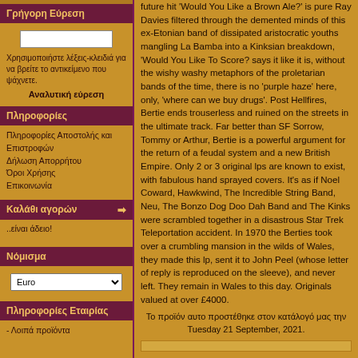Γρήγορη Εύρεση
Χρησιμοποιήστε λέξεις-κλειδιά για να βρείτε το αντικείμενο που ψάχνετε.
Αναλυτική εύρεση
Πληροφορίες
Πληροφορίες Αποστολής και Επιστροφών
Δήλωση Απορρήτου
Όροι Χρήσης
Επικοινωνία
Καλάθι αγορών
..είναι άδειο!
Νόμισμα
Euro
Πληροφορίες Εταιρίας
- Λοιπά προϊόντα
future hit 'Would You Like a Brown Ale?' is pure Ray Davies filtered through the demented minds of this ex-Etonian band of dissipated aristocratic youths mangling La Bamba into a Kinksian breakdown, 'Would You Like To Score? says it like it is, without the wishy washy metaphors of the proletarian bands of the time, there is no 'purple haze' here, only, 'where can we buy drugs'. Post Hellfires, Bertie ends trouserless and ruined on the streets in the ultimate track. Far better than SF Sorrow, Tommy or Arthur, Bertie is a powerful argument for the return of a feudal system and a new British Empire. Only 2 or 3 original lps are known to exist, with fabulous hand sprayed covers. It's as if Noel Coward, Hawkwind, The Incredible String Band, Neu, The Bonzo Dog Doo Dah Band and The Kinks were scrambled together in a disastrous Star Trek Teleportation accident. In 1970 the Berties took over a crumbling mansion in the wilds of Wales, they made this lp, sent it to John Peel (whose letter of reply is reproduced on the sleeve), and never left. They remain in Wales to this day. Originals valued at over £4000.
Το προϊόν αυτο προστέθηκε στον κατάλογό μας την Tuesday 21 September, 2021.